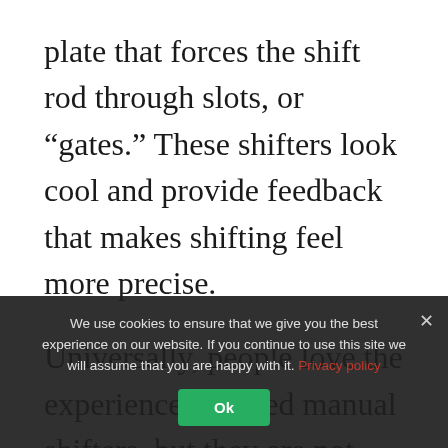plate that forces the shift rod through slots, or “gates.” These shifters look cool and provide feedback that makes shifting feel more precise.
Universally, people love the experience of gated manual shifters, but they are not embraced by the performance car community because of the slightly longer shift… shifters.
We use cookies to ensure that we give you the best experience on our website. If you continue to use this site we will assume that you are happy with it. Privacy policy [Ok]